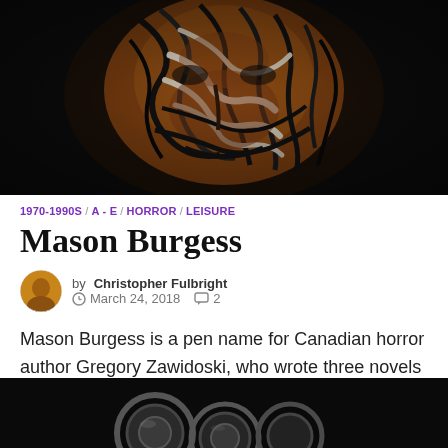[Figure (photo): Close-up horror illustration of a face with tiger-stripe pattern, zebra-like swirling lines in black, white and brown on dark background]
1970-1990S / A - E / HORROR / LEISURE
Mason Burgess
by Christopher Fulbright   March 24, 2018   2
Mason Burgess is a pen name for Canadian horror author Gregory Zawidoski, who wrote three novels for Leisure Books in the mid-1980s. There is no …
[Figure (photo): Dark background with metallic circular/ring shapes visible at the bottom of the page]